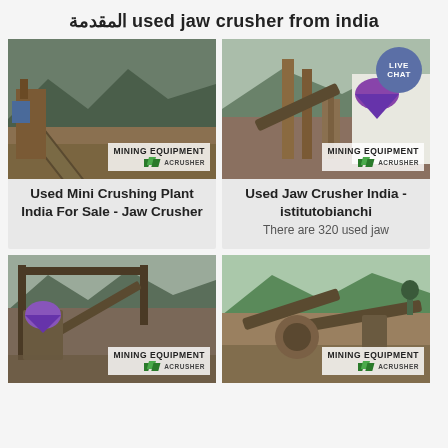المقدمة used jaw crusher from india
[Figure (photo): Mining conveyor belt equipment at outdoor crushing plant site, with Mining Equipment ACrusher watermark]
[Figure (photo): Used jaw crusher equipment in India with industrial machinery and Live Chat badge, Mining Equipment ACrusher watermark]
Used Mini Crushing Plant India For Sale - Jaw Crusher
Used Jaw Crusher India - istitutobianchi
There are 320 used jaw
[Figure (photo): Large industrial crushing plant machinery outdoors, Mining Equipment ACrusher watermark]
[Figure (photo): Mining crushing equipment with conveyor belts in mountainous area, Mining Equipment ACrusher watermark]